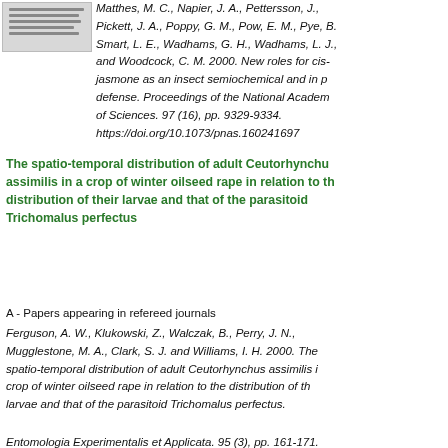[Figure (thumbnail): Small thumbnail image of a document page]
Matthes, M. C., Napier, J. A., Pettersson, J., Pickett, J. A., Poppy, G. M., Pow, E. M., Pye, B., Smart, L. E., Wadhams, G. H., Wadhams, L. J., and Woodcock, C. M. 2000. New roles for cis-jasmone as an insect semiochemical and in plant defense. Proceedings of the National Academy of Sciences. 97 (16), pp. 9329-9334. https://doi.org/10.1073/pnas.160241697
The spatio-temporal distribution of adult Ceutorhynchus assimilis in a crop of winter oilseed rape in relation to the distribution of their larvae and that of the parasitoid Trichomalus perfectus
A - Papers appearing in refereed journals
Ferguson, A. W., Klukowski, Z., Walczak, B., Perry, J. N., Mugglestone, M. A., Clark, S. J. and Williams, I. H. 2000. The spatio-temporal distribution of adult Ceutorhynchus assimilis in a crop of winter oilseed rape in relation to the distribution of the larvae and that of the parasitoid Trichomalus perfectus.